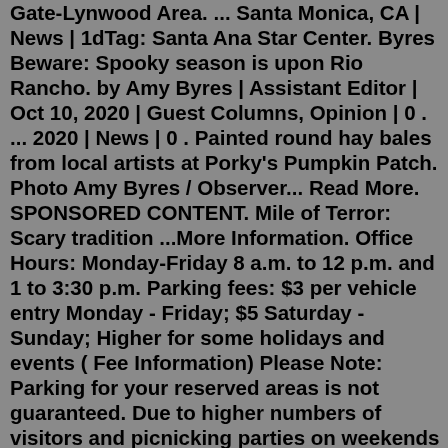Gate-Lynwood Area. ... Santa Monica, CA | News | 1dTag: Santa Ana Star Center. Byres Beware: Spooky season is upon Rio Rancho. by Amy Byres | Assistant Editor | Oct 10, 2020 | Guest Columns, Opinion | 0 . ... 2020 | News | 0 . Painted round hay bales from local artists at Porky's Pumpkin Patch. Photo Amy Byres / Observer... Read More. SPONSORED CONTENT. Mile of Terror: Scary tradition ...More Information. Office Hours: Monday-Friday 8 a.m. to 12 p.m. and 1 to 3:30 p.m. Parking fees: $3 per vehicle entry Monday - Friday; $5 Saturday - Sunday; Higher for some holidays and events ( Fee Information) Please Note: Parking for your reserved areas is not guaranteed. Due to higher numbers of visitors and picnicking parties on weekends ... We are here to help you explore the best selection of accommodations at the best prices available. Explore events, weather reports, road conditions and all you need to know before planning a trip. Call 800-424-4232 to talk to a local specialist. Summer Deals. Find Labor Day, August and September lodging deals!Petco Pet